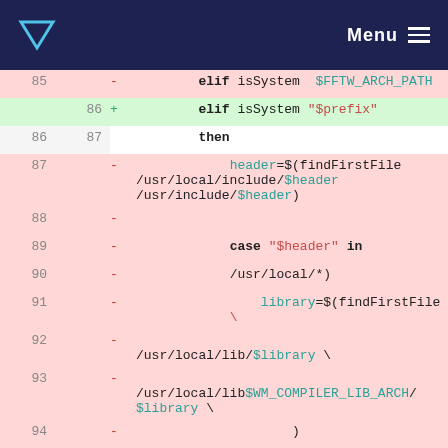Menu
[Figure (screenshot): Code diff view showing shell script changes around lines 85-97. Removed lines (red background) show old code using $FFTW_ARCH_PATH and findFirstFile with /usr/local paths. Added line (green background) shows new code using $prefix. Context lines show then, case statements, and library search logic.]